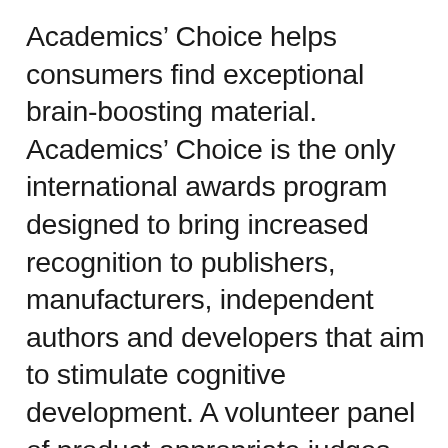Academics' Choice helps consumers find exceptional brain-boosting material. Academics' Choice is the only international awards program designed to bring increased recognition to publishers, manufacturers, independent authors and developers that aim to stimulate cognitive development. A volunteer panel of product-appropriate judges, including parents, educators, scientists, artists, doctors, nurses, librarians, students and children, evaluate submissions based on educational benefits such as higher-order thinking skills, character building, creative play, durability and originality. Only the genuine “mind-builders” are recognized with the coveted Academics’ Choice Award.